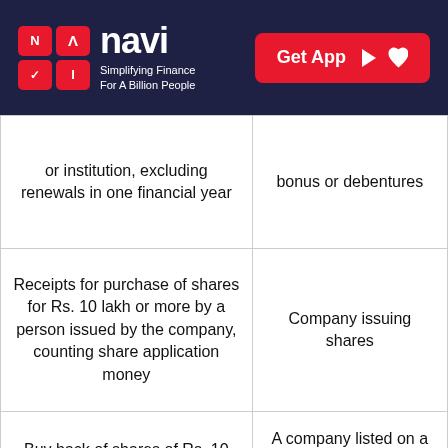navi — Simplifying Finance For A Billion People | Get App
| or institution, excluding renewals in one financial year | bonus or debentures |
| Receipts for purchase of shares for Rs. 10 lakh or more by a person issued by the company, counting share application money | Company issuing shares |
| Buy back of shares of Rs. 10 lakh or more from a person in one financial year, excluding open market. | A company listed on a recognised stock exchange buying its own shares under Section 68 of the Companies Act. |